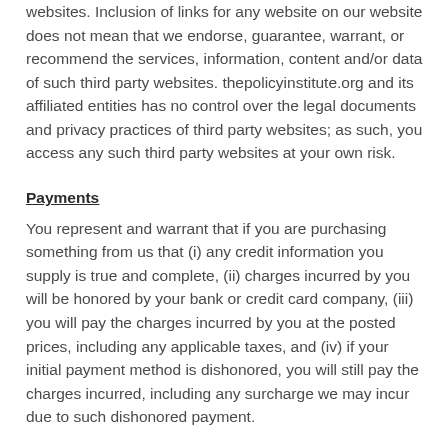websites. Inclusion of links for any website on our website does not mean that we endorse, guarantee, warrant, or recommend the services, information, content and/or data of such third party websites. thepolicyinstitute.org and its affiliated entities has no control over the legal documents and privacy practices of third party websites; as such, you access any such third party websites at your own risk.
Payments
You represent and warrant that if you are purchasing something from us that (i) any credit information you supply is true and complete, (ii) charges incurred by you will be honored by your bank or credit card company, (iii) you will pay the charges incurred by you at the posted prices, including any applicable taxes, and (iv) if your initial payment method is dishonored, you will still pay the charges incurred, including any surcharge we may incur due to such dishonored payment.
Refund and Return Policy